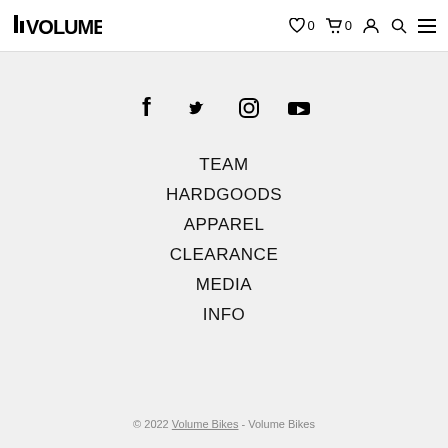VOLUME [logo] ♡ 0  🛒 0  👤  🔍  ☰
[Figure (infographic): Social media icons row: Facebook, Twitter, Instagram, YouTube]
TEAM
HARDGOODS
APPAREL
CLEARANCE
MEDIA
INFO
© 2022 Volume Bikes - Volume Bikes